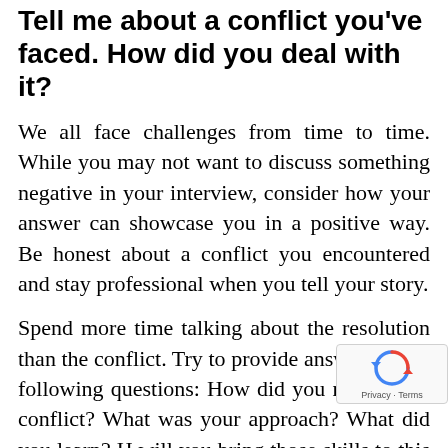Tell me about a conflict you've faced. How did you deal with it?
We all face challenges from time to time. While you may not want to discuss something negative in your interview, consider how your answer can showcase you in a positive way. Be honest about a conflict you encountered and stay professional when you tell your story.
Spend more time talking about the resolution than the conflict. Try to provide answers to the following questions: How did you resolve the conflict? What was your approach? What did you learn? How will you bring those skills to this job?